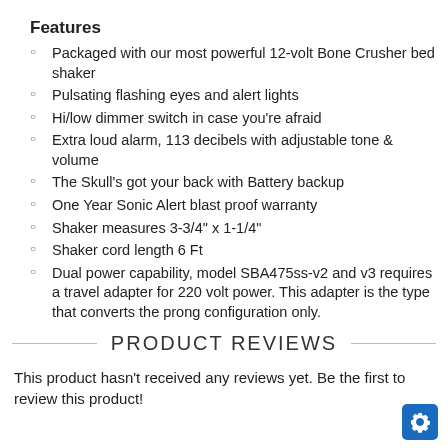Features
Packaged with our most powerful 12-volt Bone Crusher bed shaker
Pulsating flashing eyes and alert lights
Hi/low dimmer switch in case you're afraid
Extra loud alarm, 113 decibels with adjustable tone & volume
The Skull's got your back with Battery backup
One Year Sonic Alert blast proof warranty
Shaker measures 3-3/4" x 1-1/4"
Shaker cord length 6 Ft
Dual power capability, model SBA475ss-v2 and v3 requires a travel adapter for 220 volt power. This adapter is the type that converts the prong configuration only.
PRODUCT REVIEWS
This product hasn't received any reviews yet. Be the first to review this product!